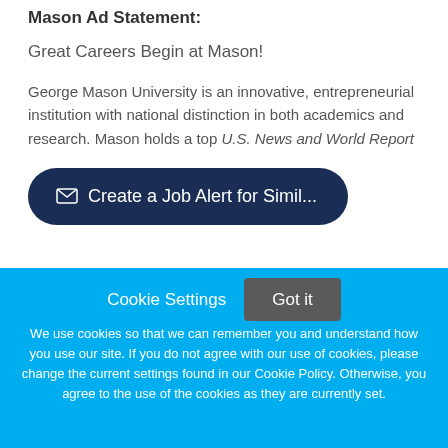Mason Ad Statement:
Great Careers Begin at Mason!
George Mason University is an innovative, entrepreneurial institution with national distinction in both academics and research. Mason holds a top U.S. News and World Report
✉ Create a Job Alert for Simil...
Cookie Settings
Got it
We use cookies so that we can remember you and understand how you use our site. If you do not agree with our use of cookies, please change the current settings found in our Cookie Policy. Otherwise, you agree to the use of the cookies as they are currently set.